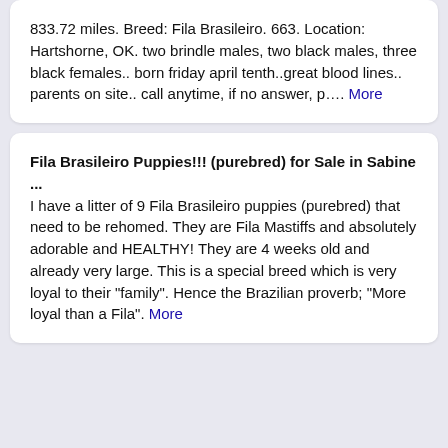833.72 miles. Breed: Fila Brasileiro. 663. Location: Hartshorne, OK. two brindle males, two black males, three black females.. born friday april tenth..great blood lines.. parents on site.. call anytime, if no answer, p.... More
Fila Brasileiro Puppies!!! (purebred) for Sale in Sabine
...
I have a litter of 9 Fila Brasileiro puppies (purebred) that need to be rehomed. They are Fila Mastiffs and absolutely adorable and HEALTHY! They are 4 weeks old and already very large. This is a special breed which is very loyal to their "family". Hence the Brazilian proverb; "More loyal than a Fila". More